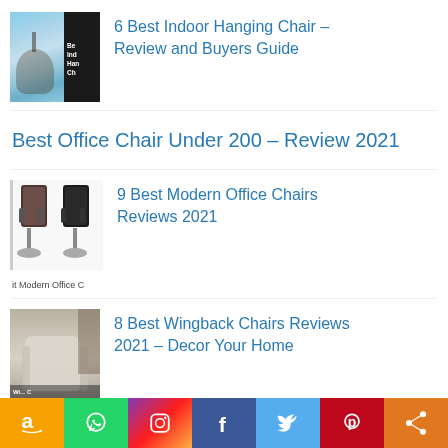[Figure (photo): Thumbnail for indoor hanging chair article: woman in a hanging egg chair by a pool, with dark overlay showing article title text]
6 Best Indoor Hanging Chair – Review and Buyers Guide
Best Office Chair Under 200 – Review 2021
[Figure (photo): Thumbnail showing two modern office chairs (black leather) side by side on white background]
it  Modern Office C
9 Best Modern Office Chairs Reviews 2021
[Figure (photo): Thumbnail showing a light gray wingback chair in a room setting with bookshelf]
8 Best Wingback Chairs Reviews 2021 – Decor Your Home
[Figure (infographic): Social sharing bar with icons for Amazon, WhatsApp, Instagram, Facebook, Twitter, Pinterest, and share]